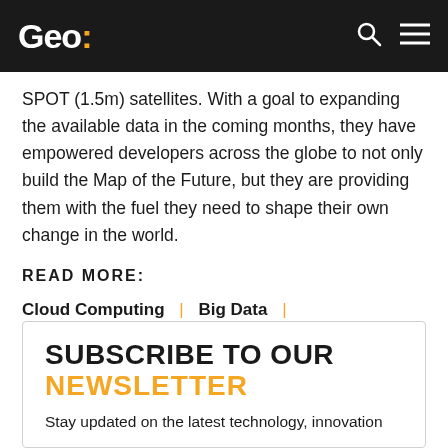Geo:
SPOT (1.5m) satellites. With a goal to expanding the available data in the coming months, they have empowered developers across the globe to not only build the Map of the Future, but they are providing them with the fuel they need to shape their own change in the world.
READ MORE:
Cloud Computing
Big Data
Terrestrial Mapping
Security & Safety
Transport & Logistics
SUBSCRIBE TO OUR NEWSLETTER Stay updated on the latest technology, innovation